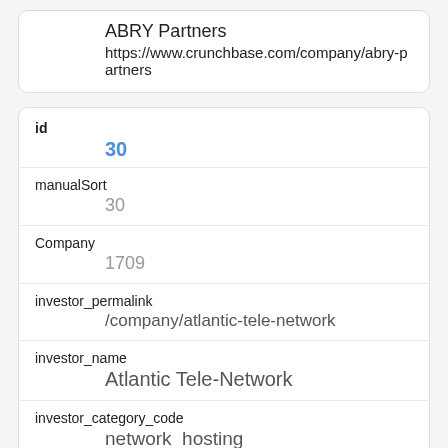ABRY Partners
https://www.crunchbase.com/company/abry-partners
id
30
manualSort
30
Company
1709
investor_permalink
/company/atlantic-tele-network
investor_name
Atlantic Tele-Network
investor_category_code
network_hosting
investor_country_code
USA
investor_state_code
MA